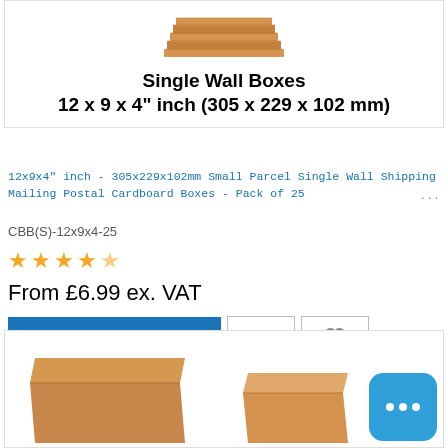[Figure (photo): Stacked cardboard boxes product image, top portion visible]
Single Wall Boxes
12 x 9 x 4" inch (305 x 229 x 102 mm)
12x9x4" inch - 305x229x102mm Small Parcel Single Wall Shipping Mailing Postal Cardboard Boxes - Pack of 25
CBB(S)-12x9x4-25
★★★★★
From £6.99 ex. VAT
ADD TO CART
[Figure (photo): Flat cardboard box product image, partially visible at bottom of page, with blue chat widget overlay]